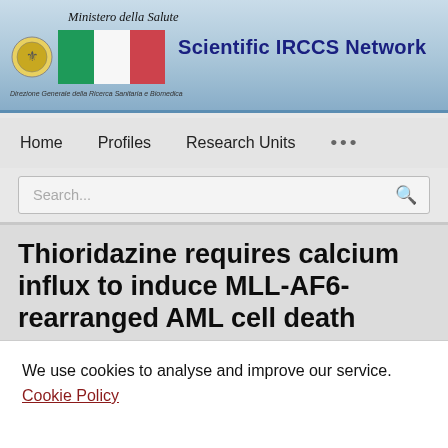Scientific IRCCS Network — Ministero della Salute — Direzione Generale della Ricerca Sanitaria e Biomedica
Home   Profiles   Research Units   ...
Search...
Thioridazine requires calcium influx to induce MLL-AF6-rearranged AML cell death
We use cookies to analyse and improve our service. Cookie Policy